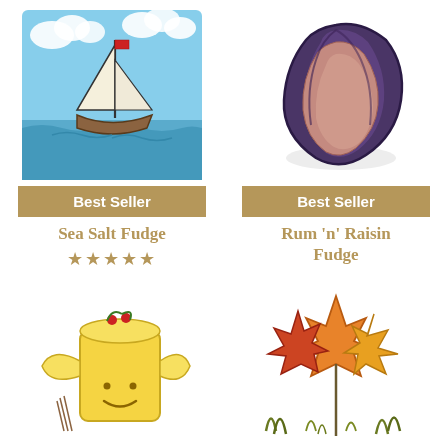[Figure (illustration): Watercolor illustration of a sailboat on blue water with clouds]
Best Seller
Sea Salt Fudge
★★★★★
[Figure (illustration): Watercolor illustration of a dark purple mussel/shell]
Best Seller
Rum 'n' Raisin Fudge
[Figure (illustration): Illustration of a yellow butter block character with wings and smiley face]
[Figure (illustration): Watercolor illustration of autumn/fall leaves in orange and red]